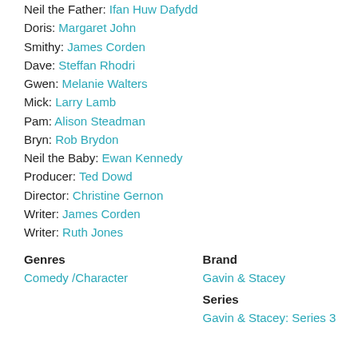Neil the Father: Ifan Huw Dafydd
Doris: Margaret John
Smithy: James Corden
Dave: Steffan Rhodri
Gwen: Melanie Walters
Mick: Larry Lamb
Pam: Alison Steadman
Bryn: Rob Brydon
Neil the Baby: Ewan Kennedy
Producer: Ted Dowd
Director: Christine Gernon
Writer: James Corden
Writer: Ruth Jones
Genres
Brand
Comedy /Character
Gavin & Stacey
Series
Gavin & Stacey: Series 3